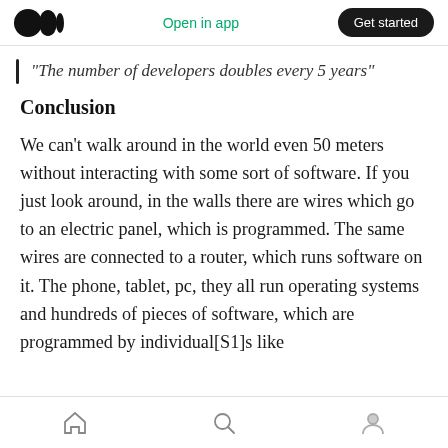Medium app header: logo, Open in app, Get started
“The number of developers doubles every 5 years”
Conclusion
We can’t walk around in the world even 50 meters without interacting with some sort of software. If you just look around, in the walls there are wires which go to an electric panel, which is programmed. The same wires are connected to a router, which runs software on it. The phone, tablet, pc, they all run operating systems and hundreds of pieces of software, which are programmed by individual[S1]s like
Home, Search, Profile icons